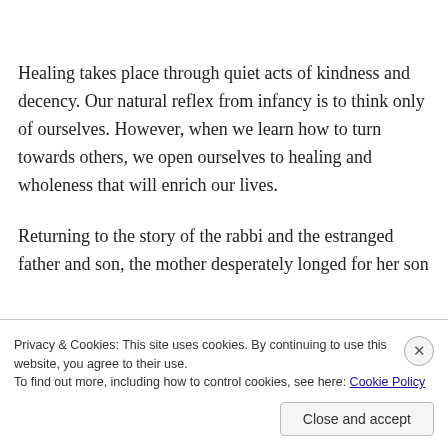Healing takes place through quiet acts of kindness and decency. Our natural reflex from infancy is to think only of ourselves. However, when we learn how to turn towards others, we open ourselves to healing and wholeness that will enrich our lives.
Returning to the story of the rabbi and the estranged father and son, the mother desperately longed for her son and the father to reconcile before he died. She knew that
Privacy & Cookies: This site uses cookies. By continuing to use this website, you agree to their use.
To find out more, including how to control cookies, see here: Cookie Policy